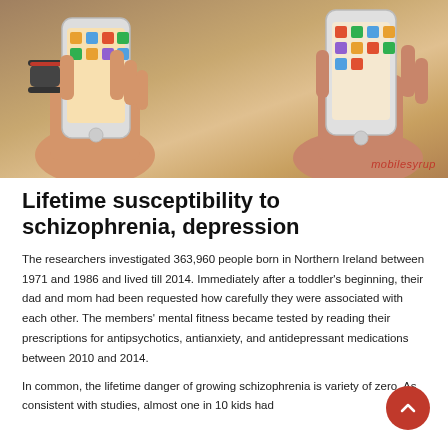[Figure (photo): Two hands holding smartphones side by side on a table, one person wearing a sport watch with red accent band. The phones display colorful home screens. A 'mobilesyrup' watermark appears in red in the bottom right corner.]
Lifetime susceptibility to schizophrenia, depression
The researchers investigated 363,960 people born in Northern Ireland between 1971 and 1986 and lived till 2014. Immediately after a toddler's beginning, their dad and mom had been requested how carefully they were associated with each other. The members' mental fitness became tested by reading their prescriptions for antipsychotics, antianxiety, and antidepressant medications between 2010 and 2014.
In common, the lifetime danger of growing schizophrenia is variety of zero. As consistent with studies, almost one in 10 kids had